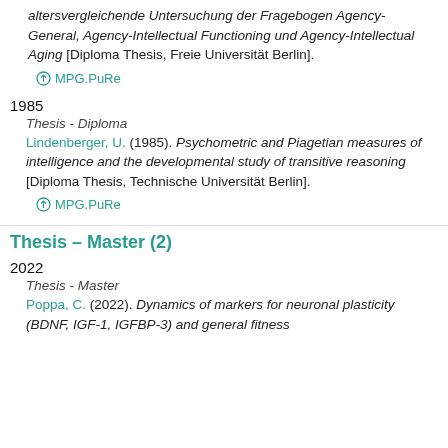altersvergleichende Untersuchung der Fragebogen Agency-General, Agency-Intellectual Functioning und Agency-Intellectual Aging [Diploma Thesis, Freie Universität Berlin].
MPG.PuRe
1985
Thesis - Diploma
Lindenberger, U. (1985). Psychometric and Piagetian measures of intelligence and the developmental study of transitive reasoning [Diploma Thesis, Technische Universität Berlin].
MPG.PuRe
Thesis – Master (2)
2022
Thesis - Master
Poppa, C. (2022). Dynamics of markers for neuronal plasticity (BDNF, IGF-1, IGFBP-3) and general fitness